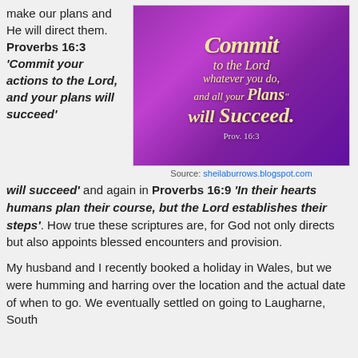make our plans and He will direct them. Proverbs 16:3 'Commit your actions to the Lord, and your plans will succeed' and again in Proverbs 16:9 'In their hearts humans plan their course, but the Lord establishes their steps'. How true these scriptures are, for God not only directs but also appoints blessed encounters and provision.
[Figure (illustration): Purple gradient image with text reading 'Commit to the Lord whatever you do, and all your Plans will Succeed. Prov. 16:3' in cream/gold lettering on purple background]
Source: sheilaburrows.blogspot.com
My husband and I recently booked a holiday in Wales, but we were humming and harring over the location and the actual date of when to go. We eventually settled on going to Laugharne, South